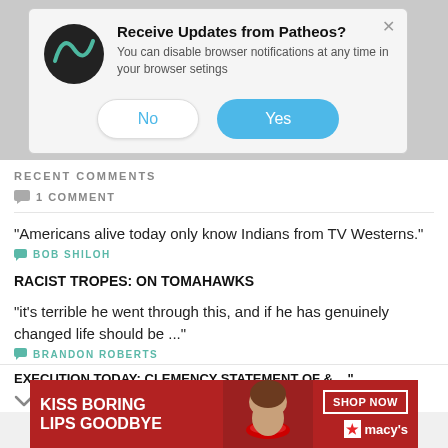[Figure (screenshot): Browser notification popup from Patheos with logo, title 'Receive Updates from Patheos?', description text, and No/Yes buttons]
RECENT COMMENTS
1 COMMENT
"Americans alive today only know Indians from TV Westerns."
BOB SHILOH
RACIST TROPES: ON TOMAHAWKS
"it's terrible he went through this, and if he has genuinely changed life should be ..."
BRANDON ROBERTS
EXECUTION TODAY: CLEMENCY STATEMENT OF & ..."
[Figure (screenshot): Macy's advertisement banner: 'KISS BORING LIPS GOODBYE' with SHOP NOW button and Macy's star logo]